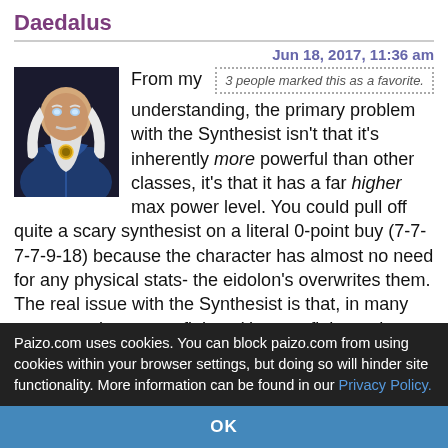Daedalus
Jun 18, 2017, 11:36 am
3 people marked this as a favorite.
[Figure (illustration): Avatar portrait of a white-haired elderly wizard/mage character in blue robes]
From my understanding, the primary problem with the Synthesist isn't that it's inherently more powerful than other classes, it's that it has a far higher max power level. You could pull off quite a scary synthesist on a literal 0-point buy (7-7-7-7-9-18) because the character has almost no need for any physical stats- the eidolon's overwrites them. The real issue with the Synthesist is that, in many ways, you become a fighter (that out-fighters the fighter) with 6th-level spellcasting, the ability to full attack with an insane number of natural attacks on a
Paizo.com uses cookies. You can block paizo.com from using cookies within your browser settings, but doing so will hinder site functionality. More information can be found in our Privacy Policy.
OK